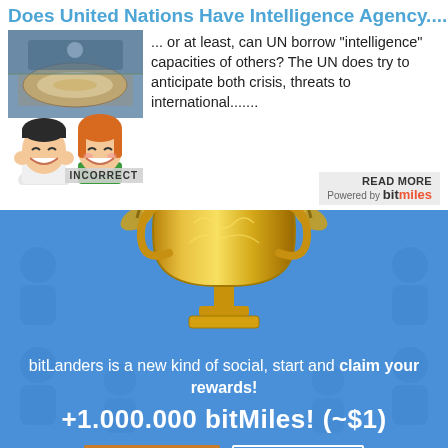Does United Nations Have Intelligence Agency....
[Figure (photo): UN Security Council chamber seen from above, circular table with delegates]
... or at least, can UN borrow "intelligence" capacities of others? The UN does try to anticipate both crisis, threats to international.......
[Figure (illustration): Two cartoon avatar characters (male and female) with INCORRECT label overlay and READ MORE / Powered by bitmiles branding]
[Figure (illustration): Gold trophy cup with laurel branches on blue background]
bitLanders is a new kind of social, start and claim your rewards!
+1.000.000 bitMiles! (~$1)
CLAIM!
NO THANKS...